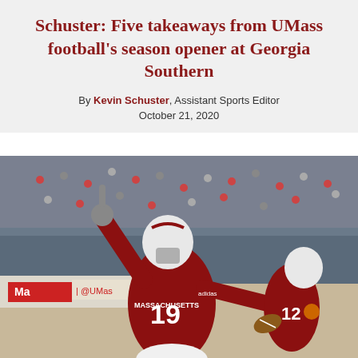Schuster: Five takeaways from UMass football's season opener at Georgia Southern
By Kevin Schuster, Assistant Sports Editor
October 21, 2020
[Figure (photo): A UMass Massachusetts football player wearing jersey number 19 in a red uniform celebrating with arms raised, pointing upward with one finger, in front of a stadium crowd. Another player wearing number 12 is visible on the right side.]